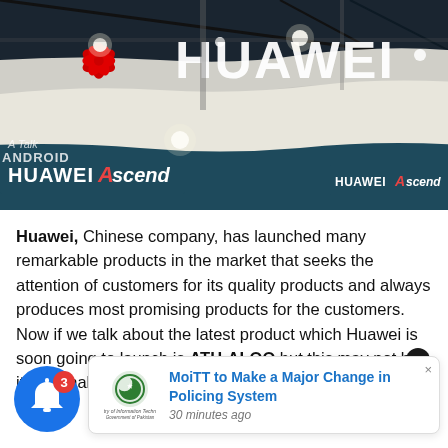[Figure (photo): Huawei exhibition booth photo showing large HUAWEI logo sign in white on dark background, red Huawei flower logo, and Huawei Ascend branding signs. TalkAndroid watermark visible.]
Huawei, Chinese company, has launched many remarkable products in the market that seeks the attention of customers for its quality products and always produces most promising products for the customers.  Now if we talk about the latest product which Huawei is soon going to launch is ATH-ALOO but this may not be its original name
[Figure (screenshot): Notification popup showing Ministry of Information Technology Government of Pakistan logo and text: MoiTT to Make a Major Change in Policing System, 30 minutes ago]
[Figure (illustration): Blue notification bell icon with red badge showing number 3]